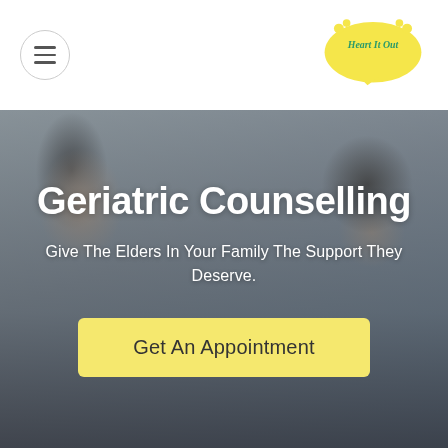Heart It Out - Navigation
[Figure (photo): A couple sitting apart, a woman on the left with dark hair and a man on the right wearing a dark turban with a styled mustache and beard, both in light grey/blue shirts, appearing distant from each other on a couch]
Geriatric Counselling
Give The Elders In Your Family The Support They Deserve.
Get An Appointment